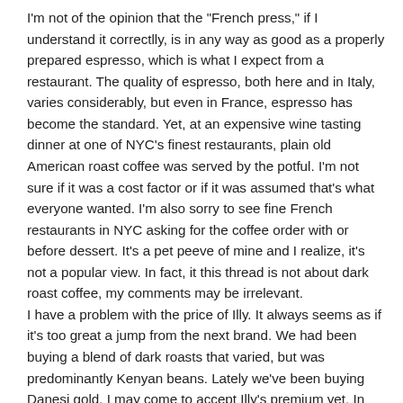I'm not of the opinion that the "French press," if I understand it correctlly, is in any way as good as a properly prepared espresso, which is what I expect from a restaurant. The quality of espresso, both here and in Italy, varies considerably, but even in France, espresso has become the standard. Yet, at an expensive wine tasting dinner at one of NYC's finest restaurants, plain old American roast coffee was served by the potful. I'm not sure if it was a cost factor or if it was assumed that's what everyone wanted. I'm also sorry to see fine French restaurants in NYC asking for the coffee order with or before dessert. It's a pet peeve of mine and I realize, it's not a popular view. In fact, it this thread is not about dark roast coffee, my comments may be irrelevant.
I have a problem with the price of Illy. It always seems as if it's too great a jump from the next brand. We had been buying a blend of dark roasts that varied, but was predominantly Kenyan beans. Lately we've been buying Danesi gold. I may come to accept Illy's premium yet. In Philadelphia, we had coffee at La Colombe and enjoyed it very much. I was told they served La Colombe at Daniel in NY and thus it should be available here. With a little resaearch I discovered it is a local Philadelphia roasting company with two retail shops in Philly. It also provides